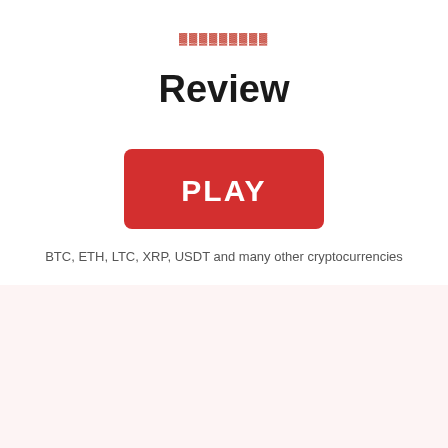🟥🟥🟥🟥🟥🟥🟥🟥🟥
Review
[Figure (illustration): Red rectangular button with white bold text 'PLAY']
BTC, ETH, LTC, XRP, USDT and many other cryptocurrencies
3